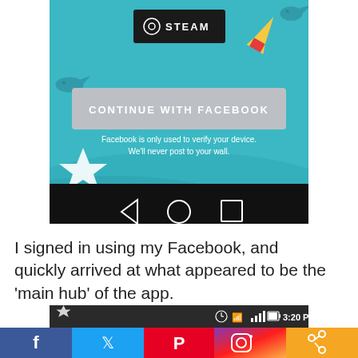[Figure (screenshot): Mobile app screenshot showing 'CONTINUE WITH FACEBOOK' button on a teal background with Steam logo, decorative rocket and star graphics, and Android navigation bar at bottom]
I signed in using my Facebook, and quickly arrived at what appeared to be the ‘main hub’ of the app.
[Figure (screenshot): Partial mobile screenshot showing Android status bar with clock 3:20 PM, WiFi, signal icons and social media share bar with Facebook, Twitter, Pinterest, Instagram, and share buttons]